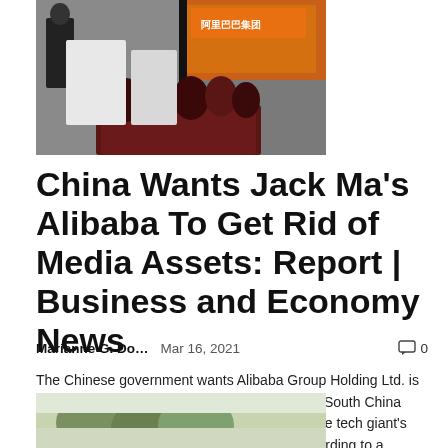[Figure (photo): Photo of an Alibaba office lobby with orange branding, dark divider, plants, and a person visible on the left.]
China Wants Jack Ma’s Alibaba To Get Rid of Media Assets: Report | Business and Economy News
Marianne G. Do…   Mar 16, 2021   💬 0
The Chinese government wants Alibaba Group Holding Ltd. is selling some of its media assets, including the South China Morning Post, amid growing concerns about the tech giant's influence on public opinion in the country, according to a…
[Figure (photo): Partial photo at bottom, showing greenery and a light background, cropped.]